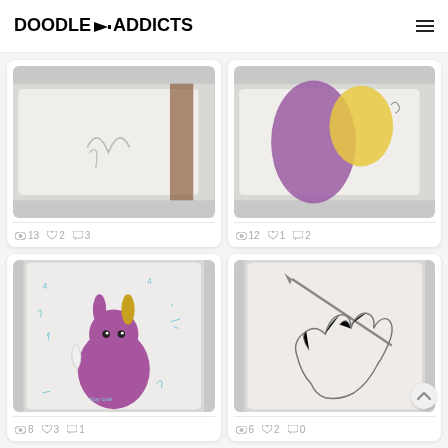DOODLE ADDICTS
[Figure (illustration): Cropped top portion of a doodle artwork showing pencil lines on white paper with a brown element on the right]
👁 13  ♥ 2  💬 3
[Figure (illustration): Cropped top portion showing purple and yellow abstract shapes on white paper]
👁 12  ♥ 1  💬 2
[Figure (illustration): Drawing of a purple bunny rabbit with angel wings, surrounded by blue doodle marks and numbers]
👁 8  ♥ 3  💬 1
[Figure (illustration): Pencil sketch of a hand holding a pencil, line art on light background]
👁 6  ♥ 2  💬 0